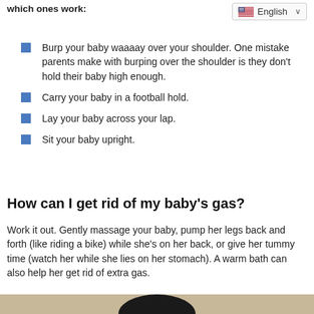which ones work:
Burp your baby waaaay over your shoulder. One mistake parents make with burping over the shoulder is they don't hold their baby high enough.
Carry your baby in a football hold.
Lay your baby across your lap.
Sit your baby upright.
How can I get rid of my baby's gas?
Work it out. Gently massage your baby, pump her legs back and forth (like riding a bike) while she's on her back, or give her tummy time (watch her while she lies on her stomach). A warm bath can also help her get rid of extra gas.
[Figure (photo): Photo of a person with dark hair, partially visible at the bottom of the page]